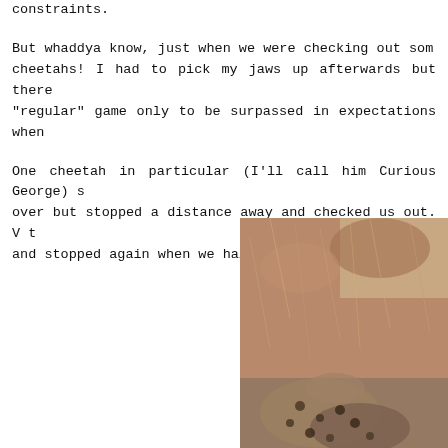constraints.

But whaddya know, just when we were checking out som cheetahs! I had to pick my jaws up afterwards but there "regular" game only to be surpassed in expectations when

One cheetah in particular (I'll call him Curious George) s over but stopped a distance away and checked us out. V t and stopped again when we halted.
[Figure (photo): Close-up photo of a cheetah (or leopard) face and body partially visible, surrounded by dry grass and earth tones. The animal's spotted coat is visible at the bottom of the frame.]